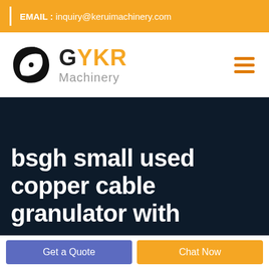EMAIL : inquiry@keruimachinery.com
[Figure (logo): GYKR Machinery logo with circular swirl icon in black and text 'GYKR' in orange and black, 'Machinery' in gray. Hamburger menu icon in orange on the right.]
bsgh small used copper cable granulator with
Get a Quote | Chat Now